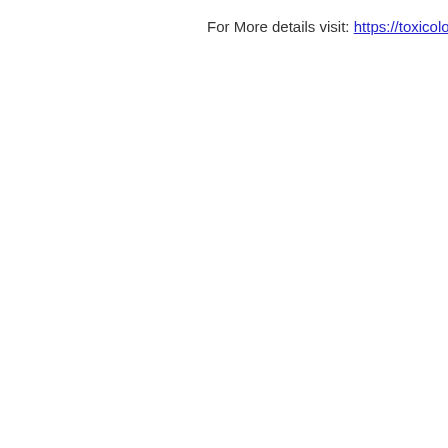For More details visit: https://toxicology-pha…